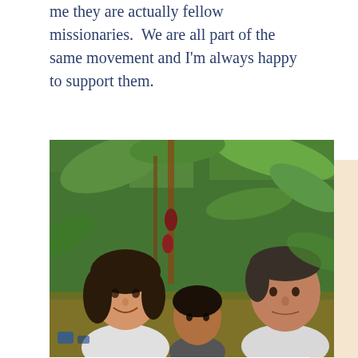me they are actually fellow missionaries.  We are all part of the same movement and I'm always happy to support them.
[Figure (photo): Three people standing outdoors in a lush green tropical forest setting with large-leafed plants and a cacao-like tree with dark red hanging fruit. A woman with dark hair on the left, a shorter person in the center, and a man on the right.]